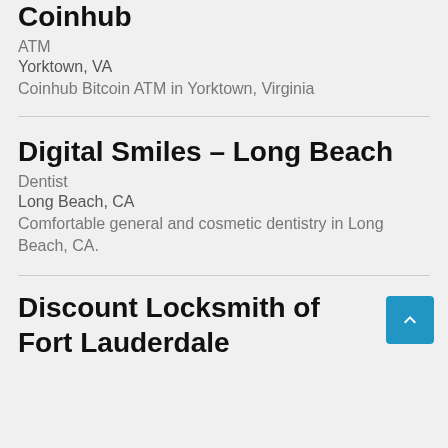Coinhub
ATM
Yorktown, VA
Coinhub Bitcoin ATM in Yorktown, Virginia
Digital Smiles – Long Beach
Dentist
Long Beach, CA
Comfortable general and cosmetic dentistry in Long Beach, CA.
Discount Locksmith of Fort Lauderdale